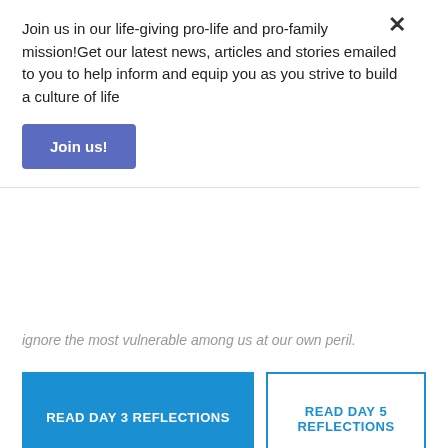Join us in our life-giving pro-life and pro-family mission!Get our latest news, articles and stories emailed to you to help inform and equip you as you strive to build a culture of life
Join us!
ignore the most vulnerable among us at our own peril.
READ DAY 3 REFLECTIONS
READ DAY 5 REFLECTIONS
Reflection
The Congregation for the Doctrine of the Faith's Doctrinal Note on some questions regarding the Participation of Catholics in Political Life is an important document to refer